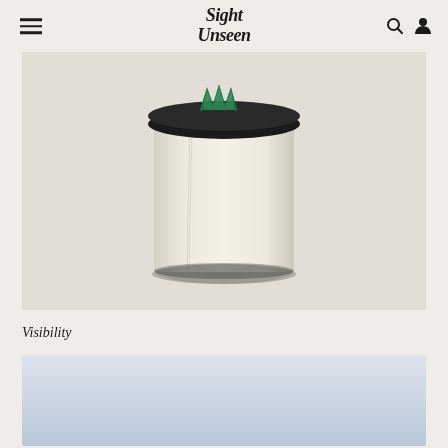Sight Unseen
[Figure (photo): A ceramic cylindrical jar/container with a cream/off-white textured body and a dark black round lid topped with a small green zigzag or W-shaped decorative element. The jar sits on a light beige/cream background.]
Visibility
[Figure (photo): A partially visible second product image at the bottom of the page, appears to be a light blue/grey colored object on a similar background.]